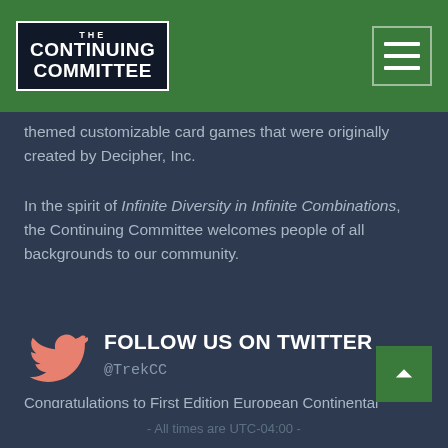THE CONTINUING COMMITTEE
themed customizable card games that were originally created by Decipher, Inc.
In the spirit of Infinite Diversity in Infinite Combinations, the Continuing Committee welcomes people of all backgrounds to our community.
FOLLOW US ON TWITTER @TrekCC
Congratulations to First Edition European Continental Champion Peter Ludwig!
Posted on Aug 15, 2022
- All times are UTC-04:00 -